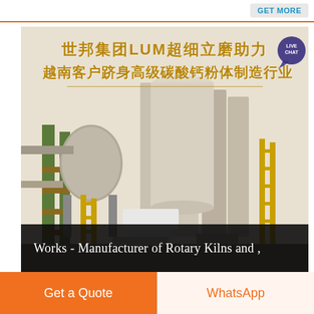[Figure (screenshot): Top navigation bar with 'Get More' button and orange bottom border]
[Figure (photo): Industrial plant/factory image showing rotary kiln equipment with Chinese text overlay reading '世邦集团LUM超细立磨助力 越南客户跻身高级碳酸钙粉体制造行业' in gold, and a live chat bubble in top-right corner. A black bar at the bottom reads 'Works - Manufacturer of Rotary Kilns and ,']
Works - Manufacturer of Rotary Kilns and ,
Get a Quote
WhatsApp